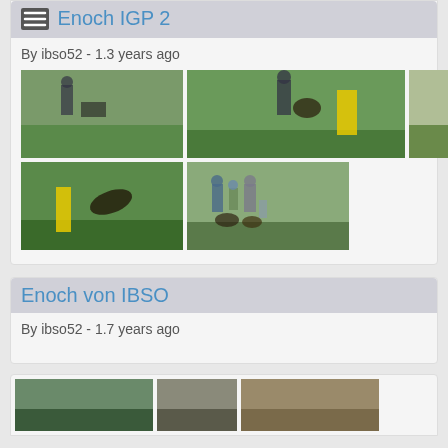Enoch IGP 2
By ibso52 - 1.3 years ago
[Figure (photo): Grid of 5 dog training/competition photos showing handler with dog, agility exercises, field scenes, jumping dog, and group of people with dogs]
Enoch von IBSO
By ibso52 - 1.7 years ago
[Figure (photo): Partial row of 3 photos showing outdoor scenes with dogs]